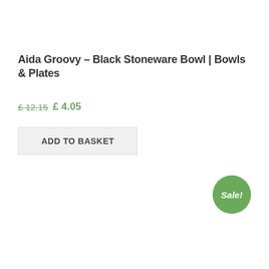Aida Groovy – Black Stoneware Bowl | Bowls & Plates
£ 12.15 £ 4.05
ADD TO BASKET
[Figure (infographic): Green circular sale badge with white italic text reading 'Sale!']